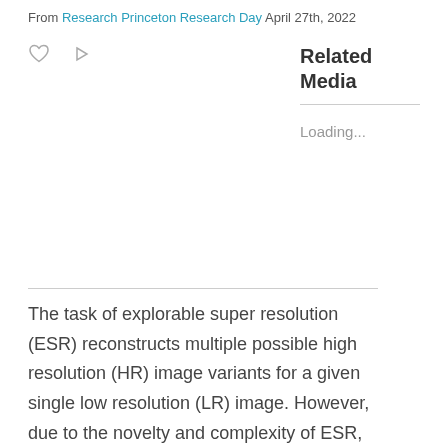From Research Princeton Research Day April 27th, 2022
The task of explorable super resolution (ESR) reconstructs multiple possible high resolution (HR) image variants for a given single low resolution (LR) image. However, due to the novelty and complexity of ESR, there is currently no way to properly evaluate accuracy and
Related Media